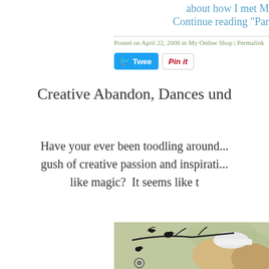about how I met M
Continue reading "Par
Posted on April 22, 2008 in My Online Shop | Permalink
[Figure (screenshot): Tweet and Pin it social sharing buttons]
Creative Abandon, Dances und
Have your ever been toodling around... gush of creative passion and inspirati... like magic?  It seems like t
[Figure (photo): Photo of person with blonde hair, black silhouette bird and branch decorations on patterned background]